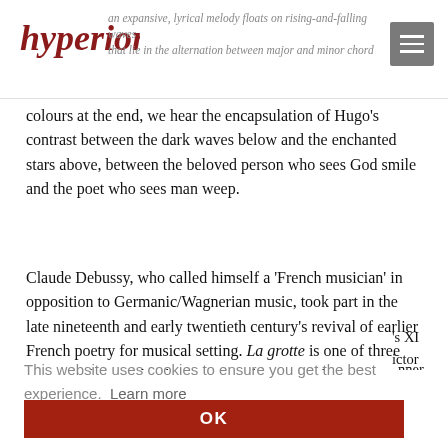hyperion [logo] — an expansive, lyrical melody floats on rising-and-falling waves that lie in the alternation between major and minor chord colours
colours at the end, we hear the encapsulation of Hugo’s contrast between the dark waves below and the enchanted stars above, between the beloved person who sees God smile and the poet who sees man weep.
Claude Debussy, who called himself a ‘French musician’ in opposition to Germanic/Wagnerian music, took part in the late nineteenth and early twentieth century’s revival of earlier French poetry for musical setting. La grotte is one of three settings of poetry by the seventeenth-century dramatist François l’Hermite, who wrote under the name Tristan
This website uses cookies to ensure you get the best experience. Learn more
OK
where Narcissus died.